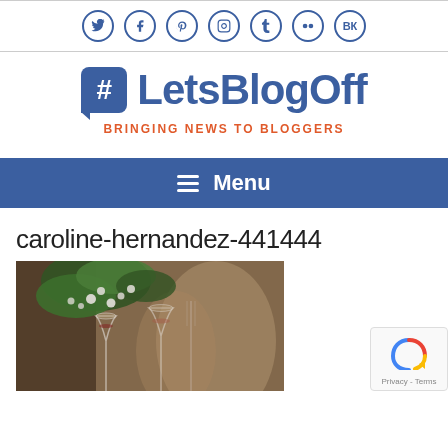Social media icons: Twitter, Facebook, Pinterest, Instagram, Tumblr, Flickr, VK
[Figure (logo): #LetsBlogOff logo with hashtag symbol in blue speech bubble, BRINGING NEWS TO BLOGGERS tagline in orange]
BRINGING NEWS TO BLOGGERS
Menu
caroline-hernandez-441444
[Figure (photo): Photo of a table setting with green leaves/flowers and wine glasses in soft focus background]